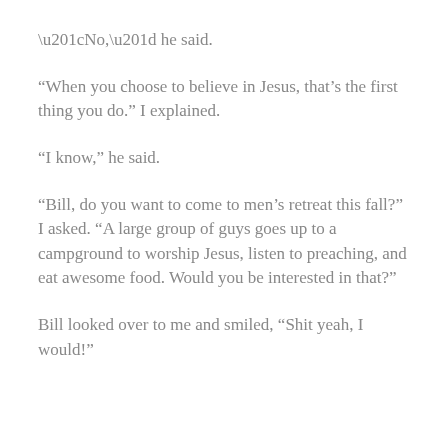“No,” he said.
“When you choose to believe in Jesus, that’s the first thing you do.” I explained.
“I know,” he said.
“Bill, do you want to come to men’s retreat this fall?” I asked. “A large group of guys goes up to a campground to worship Jesus, listen to preaching, and eat awesome food. Would you be interested in that?”
Bill looked over to me and smiled, “Shit yeah, I would!”